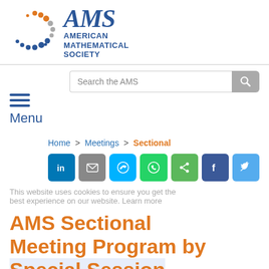[Figure (logo): American Mathematical Society logo with colorful dot pattern and AMS text]
Search the AMS
Menu
Home > Meetings > Sectional
This website uses cookies to ensure you get the best experience on our website. Learn more
AMS Sectional Meeting Program by Special Session